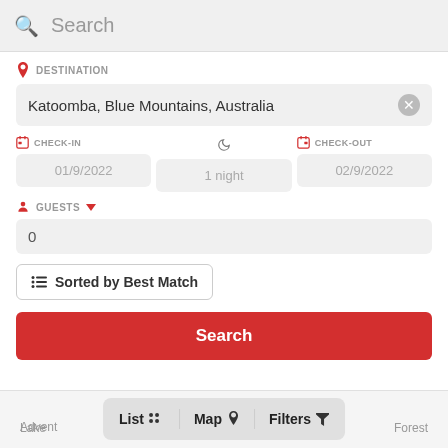Search
DESTINATION
Katoomba, Blue Mountains, Australia
CHECK-IN
01/9/2022
1 night
CHECK-OUT
02/9/2022
GUESTS
0
Sorted by Best Match
Search
Advent  List  Map  Filters  Lake  Forest